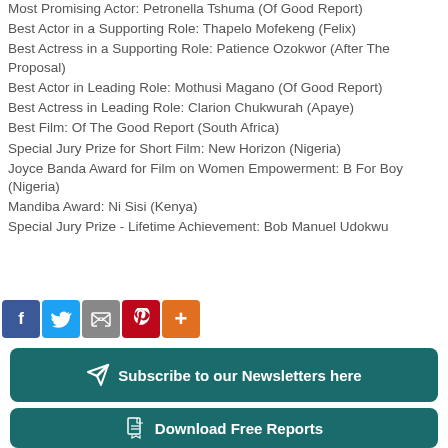Most Promising Actor: Petronella Tshuma (Of Good Report)
Best Actor in a Supporting Role: Thapelo Mofekeng (Felix)
Best Actress in a Supporting Role: Patience Ozokwor (After The Proposal)
Best Actor in Leading Role: Mothusi Magano (Of Good Report)
Best Actress in Leading Role: Clarion Chukwurah (Apaye)
Best Film: Of The Good Report (South Africa)
Special Jury Prize for Short Film: New Horizon (Nigeria)
Joyce Banda Award for Film on Women Empowerment: B For Boy (Nigeria)
Mandiba Award: Ni Sisi (Kenya)
Special Jury Prize - Lifetime Achievement: Bob Manuel Udokwu
[Figure (infographic): Social media sharing icons: Facebook, Twitter, Email/Print, Pinterest, More]
[Figure (infographic): Subscribe to our Newsletters here button with arrow icon, teal background]
[Figure (infographic): Download Free Reports button with document icon, teal background]